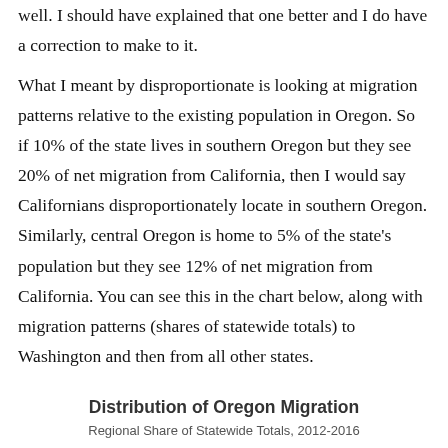well. I should have explained that one better and I do have a correction to make to it.
What I meant by disproportionate is looking at migration patterns relative to the existing population in Oregon. So if 10% of the state lives in southern Oregon but they see 20% of net migration from California, then I would say Californians disproportionately locate in southern Oregon. Similarly, central Oregon is home to 5% of the state's population but they see 12% of net migration from California. You can see this in the chart below, along with migration patterns (shares of statewide totals) to Washington and then from all other states.
Distribution of Oregon Migration
Regional Share of Statewide Totals, 2012-2016